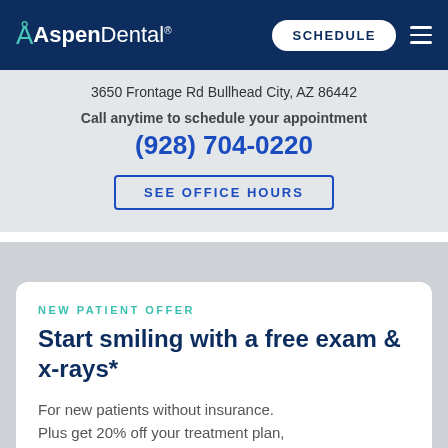[Figure (logo): Aspen Dental logo in white on dark navy background with SCHEDULE button and hamburger menu]
3650 Frontage Rd Bullhead City, AZ 86442
Call anytime to schedule your appointment
(928) 704-0220
SEE OFFICE HOURS
NEW PATIENT OFFER
Start smiling with a free exam & x-rays*
For new patients without insurance. Plus get 20% off your treatment plan, including dentures.